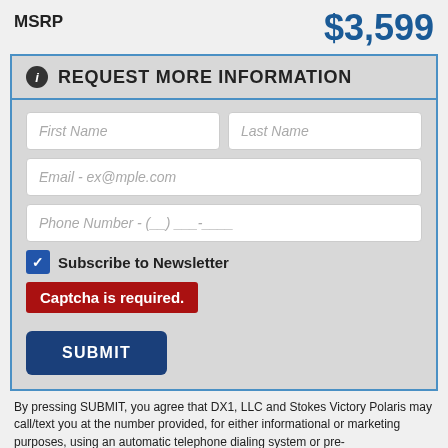MSRP
$3,599
REQUEST MORE INFORMATION
First Name
Last Name
Email - ex@mple.com
Phone Number - (__) ___-____
Subscribe to Newsletter
Captcha is required.
SUBMIT
By pressing SUBMIT, you agree that DX1, LLC and Stokes Victory Polaris may call/text you at the number provided, for either informational or marketing purposes, using an automatic telephone dialing system or pre-recorded/artificial voices. Msg/data rates may apply. You don't need to consent as a condition of any purchase. For more on our privacy practices and terms, see our Pri...